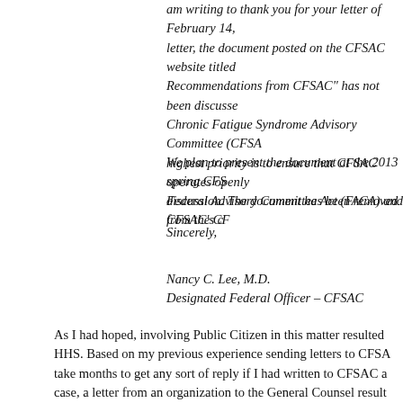am writing to thank you for your letter of February 14, letter, the document posted on the CFSAC website titled Recommendations from CFSAC" has not been discussed Chronic Fatigue Syndrome Advisory Committee (CFSA highest priority is to ensure that CFSAC operates openly Federal Advisory Committee Act (FACA) and CFSAC's c
We plan to present the document at the 2013 spring CFS discussion. The document has been removed from the CF
Sincerely,
Nancy C. Lee, M.D.
Designated Federal Officer – CFSAC
As I had hoped, involving Public Citizen in this matter resulted HHS. Based on my previous experience sending letters to CFSA take months to get any sort of reply if I had written to CFSAC a case, a letter from an organization to the General Counsel result